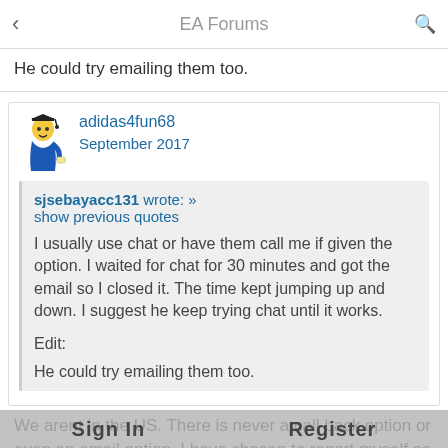EA Forums
He could try emailing them too.
adidas4fun68
September 2017
sjsebayacc131 wrote: »
show previous quotes

I usually use chat or have them call me if given the option. I waited for chat for 30 minutes and got the email so I closed it. The time kept jumping up and down. I suggest he keep trying chat until it works.

Edit:

He could try emailing them too.
We arent in the US. There is never a call back option or even an email option. I have chosen to report myself as an abusive scrabble player (for the second time) because all the other